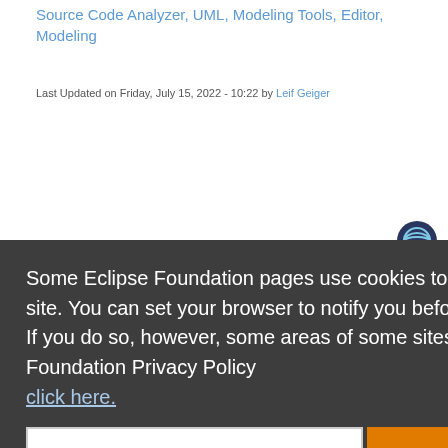Source Code Analyzer, UML, Modeling Tools, Editor, Modeling
Last Updated on Friday, July 15, 2022 - 10:22 by Leif Geiger
Some Eclipse Foundation pages use cookies to better serve you when you return to the site. You can set your browser to notify you before you receive a cookie or turn off cookies. If you do so, however, some areas of some sites may not function properly. To read Eclipse Foundation Privacy Policy click here.
Decline
Allow cookies
Zend Studio - The PHP IDE